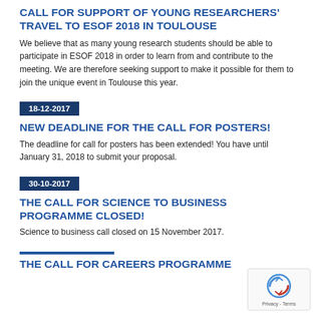CALL FOR SUPPORT OF YOUNG RESEARCHERS' TRAVEL TO ESOF 2018 IN TOULOUSE
We believe that as many young research students should be able to participate in ESOF 2018 in order to learn from and contribute to the meeting. We are therefore seeking support to make it possible for them to join the unique event in Toulouse this year.
18-12-2017
NEW DEADLINE FOR THE CALL FOR POSTERS!
The deadline for call for posters has been extended! You have until January 31, 2018 to submit your proposal.
30-10-2017
THE CALL FOR SCIENCE TO BUSINESS PROGRAMME CLOSED!
Science to business call closed on 15 November 2017.
THE CALL FOR CAREERS PROGRAMME